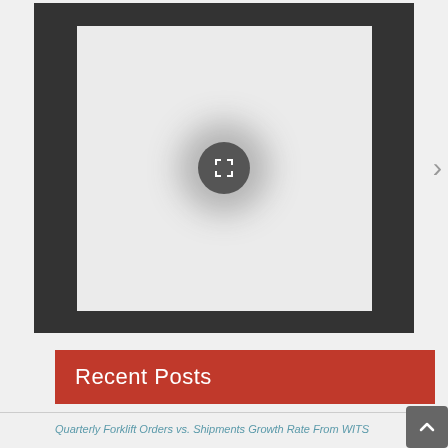[Figure (screenshot): A slideshow/gallery widget showing a dark-bordered frame containing a light gray content area with a circular play/expand button in the center and a right navigation arrow]
Recent Posts
Quarterly Forklift Orders vs. Shipments Growth Rate From WITS